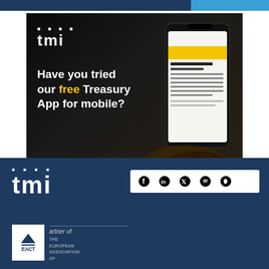[Figure (illustration): TMI app advertisement banner with dark background showing a hand holding a smartphone with treasury app content. TMI logo at top left. Text reads: Have you tried our free Treasury App for mobile? In association with Societe Generale logo on bottom left. Download Now button on yellow background at bottom right.]
[Figure (logo): TMI logo in white on dark navy footer background]
[Figure (infographic): Social media icons bar on white background: Facebook, LinkedIn, Twitter, Spotify, Apple icons]
[Figure (logo): EACT (European Association of Corporate Treasurers) logo with partner of text, white box on dark navy background]